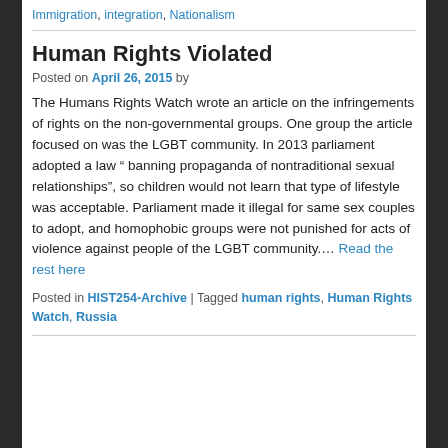Immigration, integration, Nationalism
Human Rights Violated
Posted on April 26, 2015 by
The Humans Rights Watch wrote an article on the infringements of rights on the non-governmental groups. One group the article focused on was the LGBT community. In 2013 parliament adopted a law " banning propaganda of nontraditional sexual relationships", so children would not learn that type of lifestyle was acceptable. Parliament made it illegal for same sex couples to adopt, and homophobic groups were not punished for acts of violence against people of the LGBT community.... Read the rest here
Posted in HIST254-Archive | Tagged human rights, Human Rights Watch, Russia